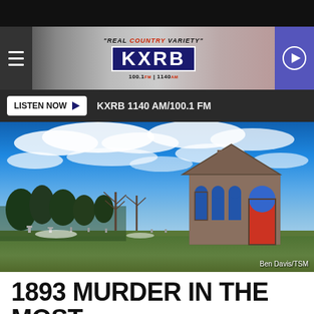[Figure (screenshot): KXRB radio station website header with logo, tagline 'REAL COUNTRY VARIETY', frequency 100.1 FM / 1140 AM, hamburger menu, and play button]
LISTEN NOW ▶  KXRB 1140 AM/100.1 FM
[Figure (photo): Stone church building under vivid blue sky with dramatic clouds, trees on the left, cemetery visible. Photo credit: Ben Davis/TSM]
Ben Davis/TSM
1893 MURDER IN THE MOST